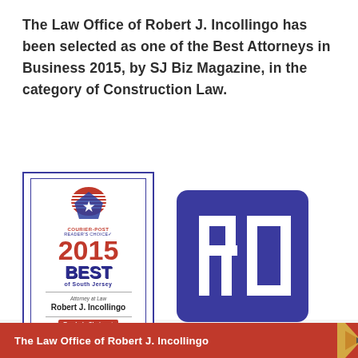The Law Office of Robert J. Incollingo has been selected as one of the Best Attorneys in Business 2015, by SJ Biz Magazine, in the category of Construction Law.
[Figure (illustration): Award plaque from Courier Post Reader's Choice 2015 Best of South Jersey for Attorney at Law Robert J. Incollingo, alongside the RCI law office logo (blue rounded square with RCI letters)]
The Law Office of Robert J. Incollingo